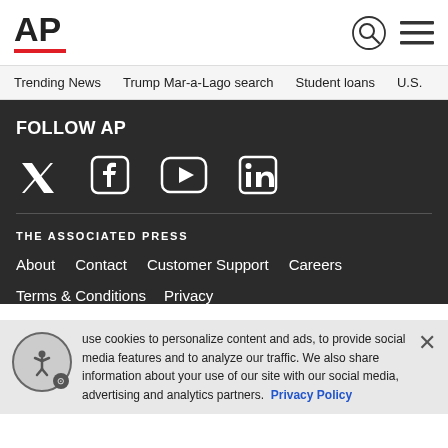AP
Trending News  Trump Mar-a-Lago search  Student loans  U.S.
FOLLOW AP
[Figure (logo): Social media icons: Twitter, Facebook, YouTube, LinkedIn]
THE ASSOCIATED PRESS
About  Contact  Customer Support  Careers
Terms & Conditions  Privacy
use cookies to personalize content and ads, to provide social media features and to analyze our traffic. We also share information about your use of our site with our social media, advertising and analytics partners. Privacy Policy